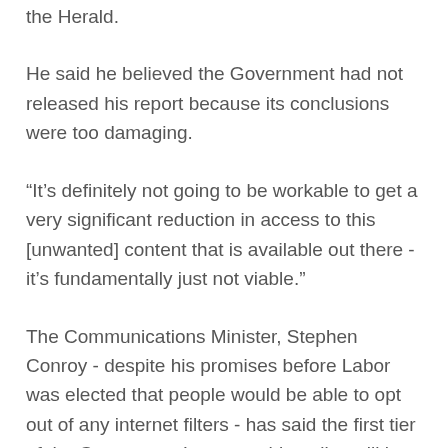the Herald.
He said he believed the Government had not released his report because its conclusions were too damaging.
“It’s definitely not going to be workable to get a very significant reduction in access to this [unwanted] content that is available out there - it’s fundamentally just not viable.”
The Communications Minister, Stephen Conroy - despite his promises before Labor was elected that people would be able to opt out of any internet filters - has said the first tier of the Government’s censorship policy will be compulsory for all. This would block all